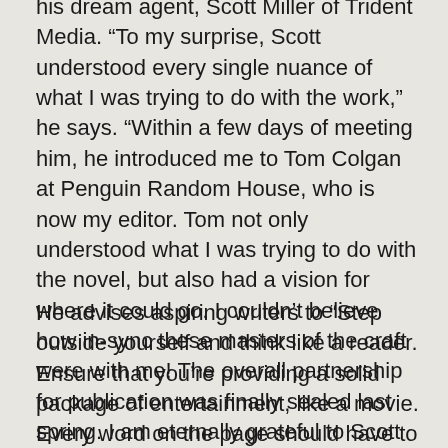his dream agent, Scott Miller of Trident Media. “To my surprise, Scott understood every single nuance of what I was trying to do with the work,” he says. “Within a few days of meeting him, he introduced me to Tom Colgan at Penguin Random House, who is now my editor. Tom not only understood what I was trying to do with the novel, but also had a vision for where it could go. I couldn’t believe how in-sync these masters of the craft were with me! The overall partnership for publication was finally sealed last spring. I am eternally grateful to Scott and Tom for taking a chance on me.”
He advises aspiring writers to “Step outside yourself and think like a reader. Ensure that you’re providing a solid package of entertainment, like a movie. Every word on the page should have to earn its place and drive the story. That can only happen after a truly heartless self-analysis.”